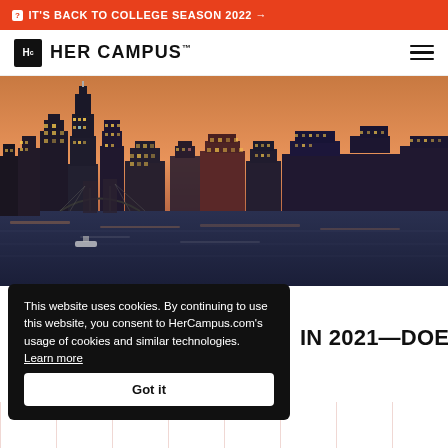IT'S BACK TO COLLEGE SEASON 2022 →
[Figure (logo): HerCampus logo with Hc icon box and HER CAMPUS text]
[Figure (photo): New York City skyline at dusk/sunset with skyscrapers illuminated, viewed from across the water with a boat visible]
This website uses cookies. By continuing to use this website, you consent to HerCampus.com's usage of cookies and similar technologies. Learn more
Got it
IN 2021—DOES IT HOLD